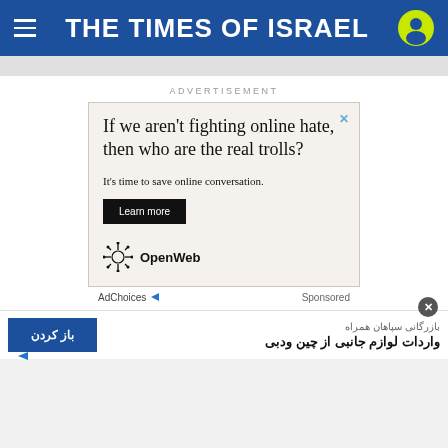THE TIMES OF ISRAEL
ADVERTISEMENT
[Figure (screenshot): Advertisement for OpenWeb: 'If we aren't fighting online hate, then who are the real trolls? It's time to save online conversation. Learn more' with OpenWeb logo. Below: AdChoices | Sponsored]
[Figure (screenshot): Bottom banner advertisement in Persian: 'بازرگانی سپاهان همراه / واردات لوازم جانبی از چین ودبی' with a blue 'باز کردن' button]